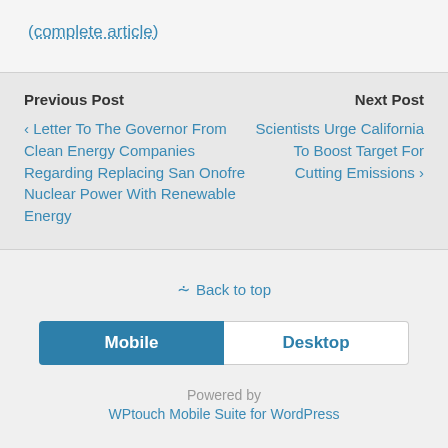(complete article)
Previous Post
Next Post
‹ Letter To The Governor From Clean Energy Companies Regarding Replacing San Onofre Nuclear Power With Renewable Energy
Scientists Urge California To Boost Target For Cutting Emissions ›
⇪ Back to top
Mobile
Desktop
Powered by
WPtouch Mobile Suite for WordPress